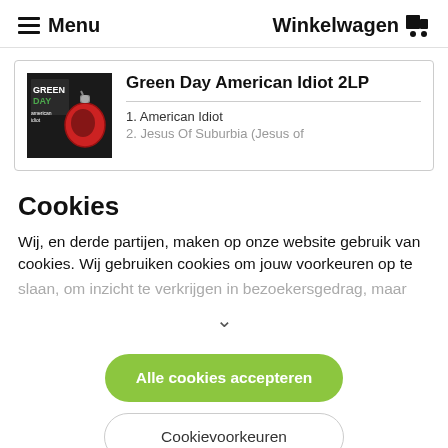Menu   Winkelwagen
[Figure (photo): Green Day American Idiot album cover — dark background with stylized red grenade and text]
Green Day American Idiot 2LP
1. American Idiot
2. Jesus Of Suburbia (Jesus of
Cookies
Wij, en derde partijen, maken op onze website gebruik van cookies. Wij gebruiken cookies om jouw voorkeuren op te slaan, om inzicht te verkrijgen in bezoekers gedrag, maar
Alle cookies accepteren
Cookievoorkeuren